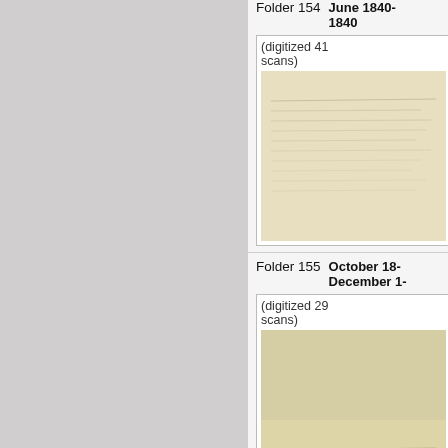Folder 154
June 1840- 1840
(digitized 41 scans)
[Figure (photo): Thumbnail of a digitized historical handwritten document, folder 154, aged paper with cursive writing]
Folder 155
October 18- December 1-
(digitized 29 scans)
[Figure (photo): Thumbnail of a digitized historical handwritten document, folder 155, aged paper with faint cursive writing]
Folder 156
January 18-
(digitized 48 scans)
[Figure (photo): Thumbnail of a digitized historical handwritten document, folder 156, aged paper with handwriting and a red stamp]